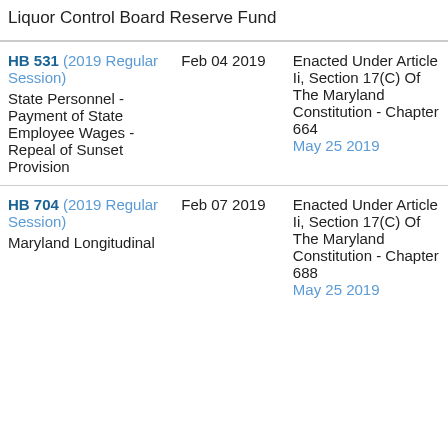Liquor Control Board Reserve Fund
| Bill | Date | Status |
| --- | --- | --- |
| HB 531 (2019 Regular Session) State Personnel - Payment of State Employee Wages - Repeal of Sunset Provision | Feb 04 2019 | Enacted Under Article Ii, Section 17(C) Of The Maryland Constitution - Chapter 664
May 25 2019 |
| HB 704 (2019 Regular Session) Maryland Longitudinal | Feb 07 2019 | Enacted Under Article Ii, Section 17(C) Of The Maryland Constitution - Chapter 688
May 25 2019 |